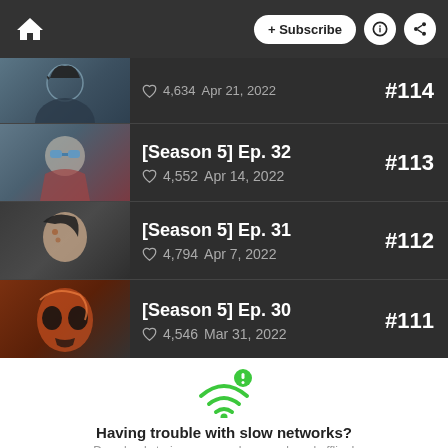+ Subscribe
[Season 5] Ep. 32 — ♡ 4,634  Apr 21, 2022  #114
[Season 5] Ep. 32 — ♡ 4,552  Apr 14, 2022  #113
[Season 5] Ep. 31 — ♡ 4,794  Apr 7, 2022  #112
[Season 5] Ep. 30 — ♡ 4,546  Mar 31, 2022  #111
[Figure (infographic): WiFi icon with exclamation mark indicating network trouble]
Having trouble with slow networks?
Download stories on your phone and read offline!
Go to the WEBTOON app